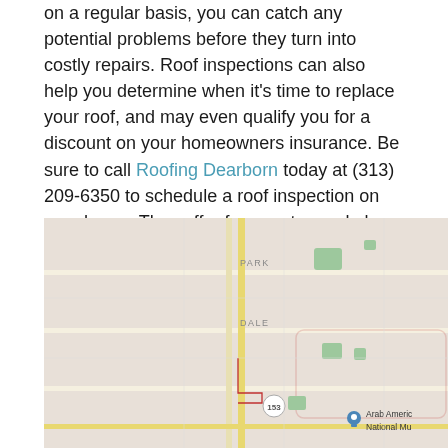on a regular basis, you can catch any potential problems before they turn into costly repairs. Roof inspections can also help you determine when it's time to replace your roof, and may even qualify you for a discount on your homeowners insurance. Be sure to call Roofing Dearborn today at (313) 209-6350 to schedule a roof inspection on your home. They offer free quotes and also financing for new roof installations.
[Figure (map): Google Maps view showing Dearborn area with labels PARK, DALE, route marker 153, and Arab American National Museum marker visible]